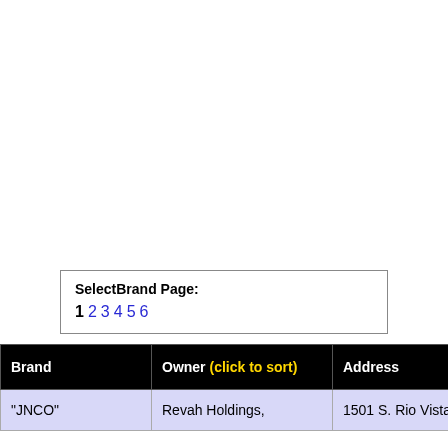SelectBrand Page: 1 2 3 4 5 6
| Brand | Owner (click to sort) | Address | Des |
| --- | --- | --- | --- |
| "JNCO" | Revah Holdings, | 1501 S. Rio Vista | Clot |